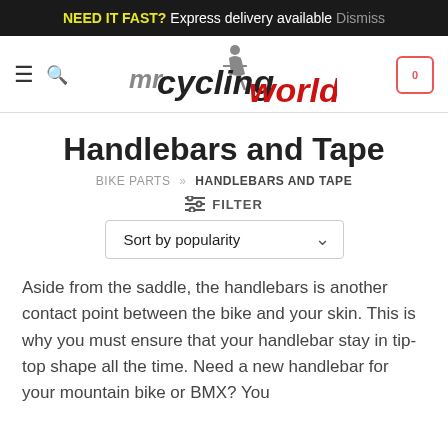NEED IT FAST? Express delivery available Dismiss
[Figure (logo): Mr Cycling World logo with cyclist icon, 'mr' in grey and 'cycling' in dark grey/black and 'world' in red text]
Handlebars and Tape
BIKE PARTS » HANDLEBARS AND TAPE
≡ FILTER
Sort by popularity
Aside from the saddle, the handlebars is another contact point between the bike and your skin. This is why you must ensure that your handlebar stay in tip-top shape all the time. Need a new handlebar for your mountain bike or BMX? You